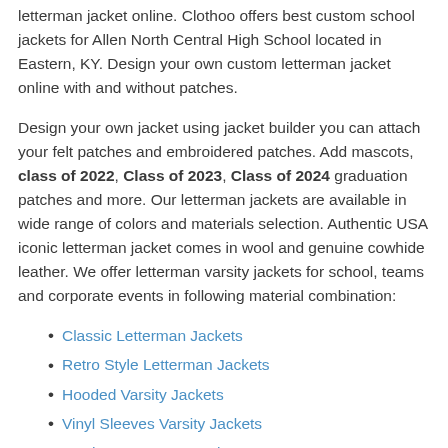letterman jacket online. Clothoo offers best custom school jackets for Allen North Central High School located in Eastern, KY. Design your own custom letterman jacket online with and without patches.
Design your own jacket using jacket builder you can attach your felt patches and embroidered patches. Add mascots, class of 2022, Class of 2023, Class of 2024 graduation patches and more. Our letterman jackets are available in wide range of colors and materials selection. Authentic USA iconic letterman jacket comes in wool and genuine cowhide leather. We offer letterman varsity jackets for school, teams and corporate events in following material combination:
Classic Letterman Jackets
Retro Style Letterman Jackets
Hooded Varsity Jackets
Vinyl Sleeves Varsity Jackets
Leather Letterman Jackets
Premium range of materials and low prices makes our jackets affordable for high school students. In addition to the above we